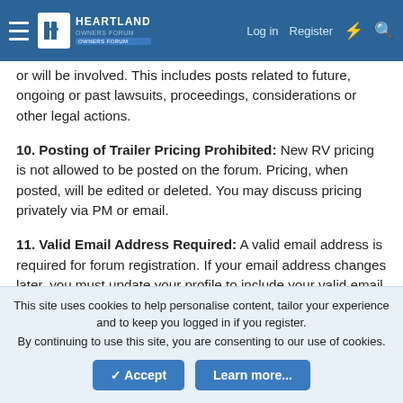Heartland Owners Forum — Log in | Register
or will be involved. This includes posts related to future, ongoing or past lawsuits, proceedings, considerations or other legal actions.
10. Posting of Trailer Pricing Prohibited: New RV pricing is not allowed to be posted on the forum. Pricing, when posted, will be edited or deleted. You may discuss pricing privately via PM or email.
11. Valid Email Address Required: A valid email address is required for forum registration. If your email address changes later, you must update your profile to include your valid email address. In your profile, you may elect to keep your email address private and even decline to receive emails from the administrator. If however, your email address is determined to
This site uses cookies to help personalise content, tailor your experience and to keep you logged in if you register.
By continuing to use this site, you are consenting to our use of cookies.